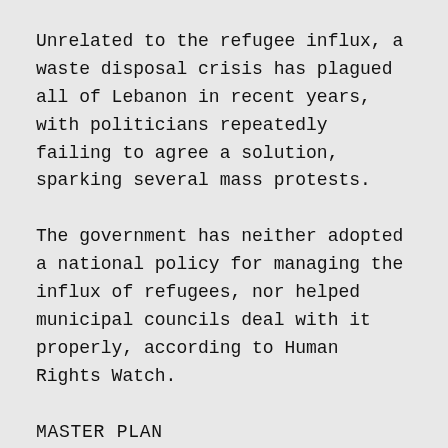Unrelated to the refugee influx, a waste disposal crisis has plagued all of Lebanon in recent years, with politicians repeatedly failing to agree a solution, sparking several mass protests.
The government has neither adopted a national policy for managing the influx of refugees, nor helped municipal councils deal with it properly, according to Human Rights Watch.
MASTER PLAN
On a recent visit to the Bekaa, European Commissioner Johannes Hahn said the EU was “trying to do our best to